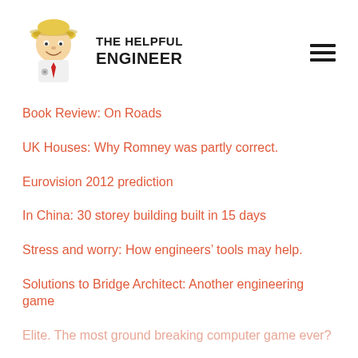[Figure (logo): The Helpful Engineer website logo: cartoon engineer character with hard hat, smiling face, white shirt and red tie]
THE HELPFUL ENGINEER
Book Review: On Roads
UK Houses: Why Romney was partly correct.
Eurovision 2012 prediction
In China: 30 storey building built in 15 days
Stress and worry: How engineers' tools may help.
Solutions to Bridge Architect: Another engineering game
Elite. The most ground breaking computer game ever?